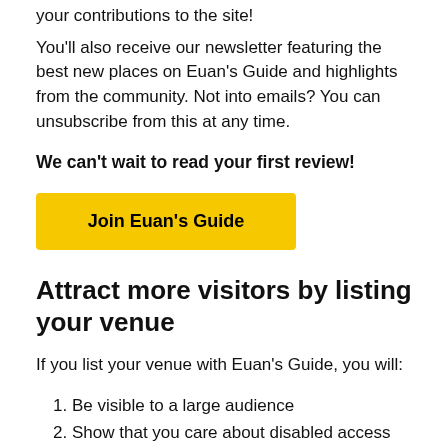your contributions to the site!
You'll also receive our newsletter featuring the best new places on Euan's Guide and highlights from the community. Not into emails? You can unsubscribe from this at any time.
We can't wait to read your first review!
Join Euan's Guide
Attract more visitors by listing your venue
If you list your venue with Euan's Guide, you will:
Be visible to a large audience
Show that you care about disabled access